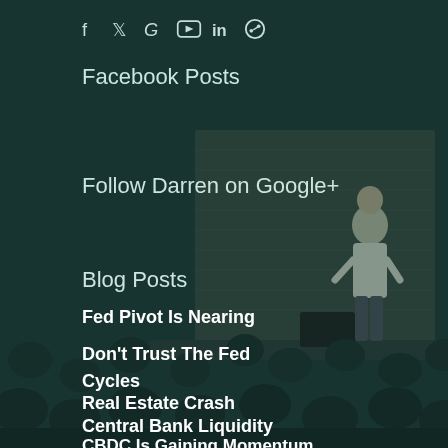[Figure (photo): Black and white photo of a man presenting on stage to an audience, with a large backdrop behind him. Overlay teal/dark green tint.]
f  ✓  G  [YouTube]  in  [Pinterest]
Facebook Posts
Follow Darren on Google+
Blog Posts
Fed Pivot Is Nearing
Don't Trust The Fed
Cycles
Real Estate Crash
Central Bank Liquidity
CBDC Is Gaining Momentum